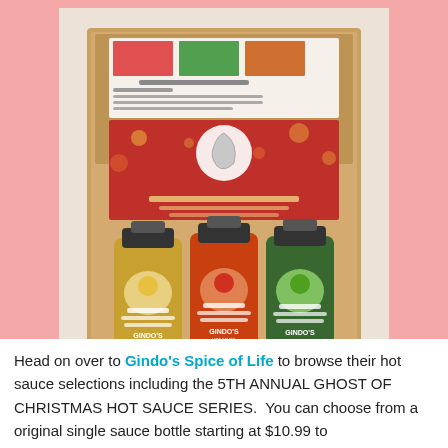[Figure (photo): An open gift box containing three bottles of Gindo's Hot Sauce (Ghost of Christmas series — Original, Reserve, and Habanero varieties with yellow, orange, and green labels) along with a promotional card featuring a chili pepper logo and bokeh Christmas lights background. The box is sitting on a fluffy white surface.]
Head on over to Gindo's Spice of Life to browse their hot sauce selections including the 5TH ANNUAL GHOST OF CHRISTMAS HOT SAUCE SERIES.  You can choose from a original single sauce bottle starting at $10.99 to